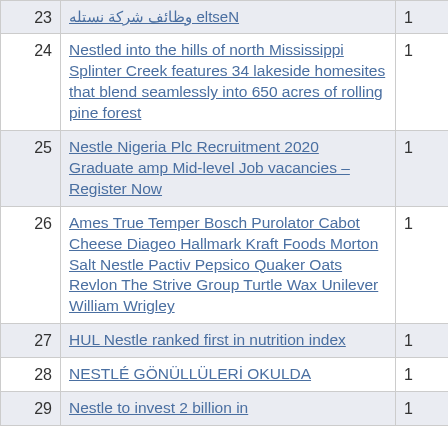| # | Title | Count |
| --- | --- | --- |
| 23 | Nestle وظائف شركة نستله | 1 |
| 24 | Nestled into the hills of north Mississippi Splinter Creek features 34 lakeside homesites that blend seamlessly into 650 acres of rolling pine forest | 1 |
| 25 | Nestle Nigeria Plc Recruitment 2020 Graduate amp Mid-level Job vacancies – Register Now | 1 |
| 26 | Ames True Temper Bosch Purolator Cabot Cheese Diageo Hallmark Kraft Foods Morton Salt Nestle Pactiv Pepsico Quaker Oats Revlon The Strive Group Turtle Wax Unilever William Wrigley | 1 |
| 27 | HUL Nestle ranked first in nutrition index | 1 |
| 28 | NESTLÉ GÖNÜLLÜLERİ OKULDA | 1 |
| 29 | Nestle to invest 2 billion in | 1 |